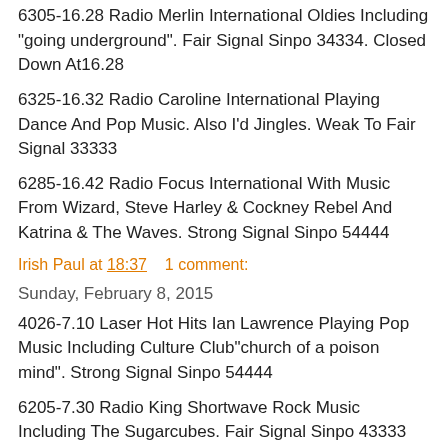6305-16.28 Radio Merlin International Oldies Including "going underground". Fair Signal Sinpo 34334. Closed Down At16.28
6325-16.32 Radio Caroline International Playing Dance And Pop Music. Also I'd Jingles. Weak To Fair Signal 33333
6285-16.42 Radio Focus International With Music From Wizard, Steve Harley & Cockney Rebel And Katrina & The Waves. Strong Signal Sinpo 54444
Irish Paul at 18:37    1 comment:
Sunday, February 8, 2015
4026-7.10 Laser Hot Hits Ian Lawrence Playing Pop Music Including Culture Club"church of a poison mind". Strong Signal Sinpo 54444
6205-7.30 Radio King Shortwave Rock Music Including The Sugarcubes. Fair Signal Sinpo 43333
6305-7.52 Radio Merlin International Oldies Including